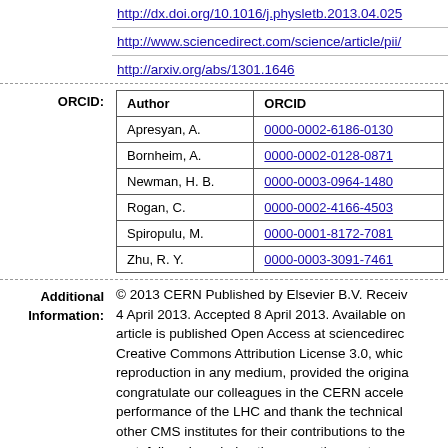http://dx.doi.org/10.1016/j.physletb.2013.04.025
http://www.sciencedirect.com/science/article/pii/
http://arxiv.org/abs/1301.1646
| Author | ORCID |
| --- | --- |
| Apresyan, A. | 0000-0002-6186-0130 |
| Bornheim, A. | 0000-0002-0128-0871 |
| Newman, H. B. | 0000-0003-0964-1480 |
| Rogan, C. | 0000-0002-4166-4503 |
| Spiropulu, M. | 0000-0001-8172-7081 |
| Zhu, R. Y. | 0000-0003-3091-7461 |
© 2013 CERN Published by Elsevier B.V. Received 4 April 2013. Accepted 8 April 2013. Available on article is published Open Access at sciencedirect. Creative Commons Attribution License 3.0, which reproduction in any medium, provided the original congratulate our colleagues in the CERN accele performance of the LHC and thank the technical other CMS institutes for their contributions to the gratefully acknowledge the computing centers an Computing Grid for delivering so effectively the analyses. Finally, we acknowledge the enduring